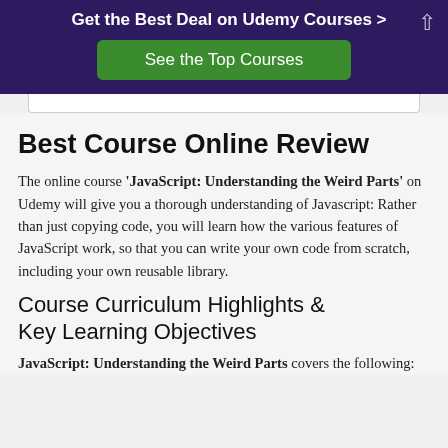Get the Best Deal on Udemy Courses >
See the Top Courses
Best Course Online Review
The online course 'JavaScript: Understanding the Weird Parts' on Udemy will give you a thorough understanding of Javascript: Rather than just copying code, you will learn how the various features of JavaScript work, so that you can write your own code from scratch, including your own reusable library.
Course Curriculum Highlights & Key Learning Objectives
JavaScript: Understanding the Weird Parts covers the following: